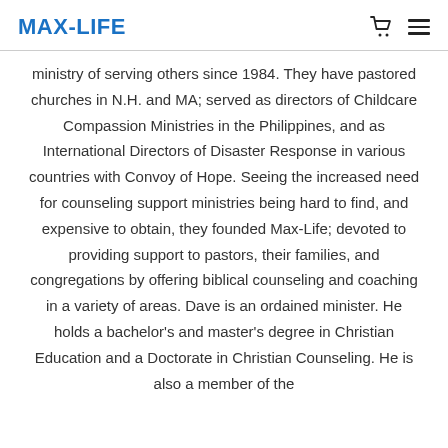MAX-LIFE
ministry of serving others since 1984. They have pastored churches in N.H. and MA; served as directors of Childcare Compassion Ministries in the Philippines, and as International Directors of Disaster Response in various countries with Convoy of Hope. Seeing the increased need for counseling support ministries being hard to find, and expensive to obtain, they founded Max-Life; devoted to providing support to pastors, their families, and congregations by offering biblical counseling and coaching in a variety of areas. Dave is an ordained minister. He holds a bachelor's and master's degree in Christian Education and a Doctorate in Christian Counseling. He is also a member of the